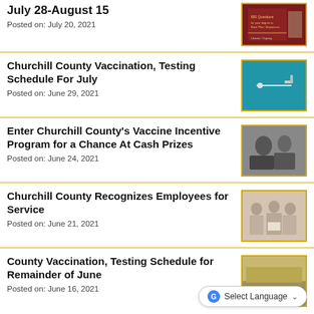July 28-August 15
Posted on: July 20, 2021
[Figure (photo): Red background book/report cover image]
Churchill County Vaccination, Testing Schedule For July
Posted on: June 29, 2021
[Figure (photo): Blue background photo of a vaccine syringe]
Enter Churchill County's Vaccine Incentive Program for a Chance At Cash Prizes
Posted on: June 24, 2021
[Figure (photo): Black and white photo of people]
Churchill County Recognizes Employees for Service
Posted on: June 21, 2021
[Figure (photo): Photo of group of employees holding an award]
County Vaccination, Testing Schedule for Remainder of June
Posted on: June 16, 2021
[Figure (photo): Photo of parking lot or drive-through vaccination site]